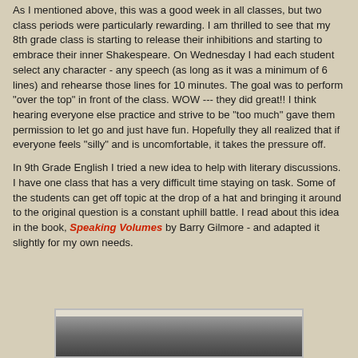As I mentioned above, this was a good week in all classes, but two class periods were particularly rewarding. I am thrilled to see that my 8th grade class is starting to release their inhibitions and starting to embrace their inner Shakespeare. On Wednesday I had each student select any character - any speech (as long as it was a minimum of 6 lines) and rehearse those lines for 10 minutes. The goal was to perform "over the top" in front of the class. WOW --- they did great!! I think hearing everyone else practice and strive to be "too much" gave them permission to let go and just have fun. Hopefully they all realized that if everyone feels "silly" and is uncomfortable, it takes the pressure off.
In 9th Grade English I tried a new idea to help with literary discussions. I have one class that has a very difficult time staying on task. Some of the students can get off topic at the drop of a hat and bringing it around to the original question is a constant uphill battle. I read about this idea in the book, Speaking Volumes by Barry Gilmore - and adapted it slightly for my own needs.
[Figure (photo): Partial photo visible at the bottom of the page, appears to be a classroom or book-related image with a dark gray background]